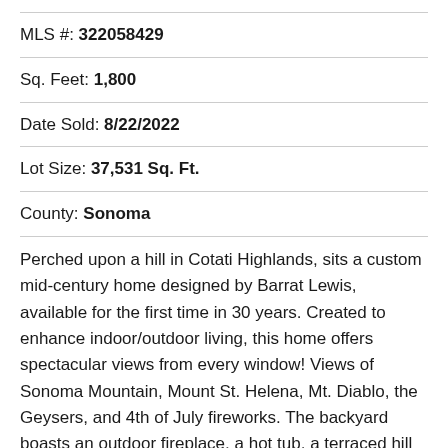MLS #: 322058429
Sq. Feet: 1,800
Date Sold: 8/22/2022
Lot Size: 37,531 Sq. Ft.
County: Sonoma
Perched upon a hill in Cotati Highlands, sits a custom mid-century home designed by Barrat Lewis, available for the first time in 30 years. Created to enhance indoor/outdoor living, this home offers spectacular views from every window! Views of Sonoma Mountain, Mount St. Helena, Mt. Diablo, the Geysers, and 4th of July fireworks. The backyard boasts an outdoor fireplace, a hot tub, a terraced hill with top of the world sitting areas, and dining areas for al fresco dining. The front of the property offers a large deck, many fruit trees, a fountain, flat grassy area, garden boxes, and a field. The house, designed